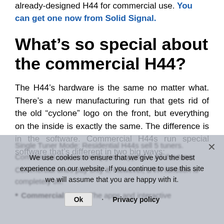already-designed H44 for commercial use. You can get one now from Solid Signal.
What’s so special about the commercial H44?
The H44’s hardware is the same no matter what. There’s a new manufacturing run that gets rid of the old “cyclone” logo on the front, but everything on the inside is exactly the same. The difference is in the software. Commercial H44s run special software that’s different in two big ways:
We use cookies to ensure that we give you the best experience on our website. If you continue to use this site we will assume that you are happy with it.
Ok · Privacy policy